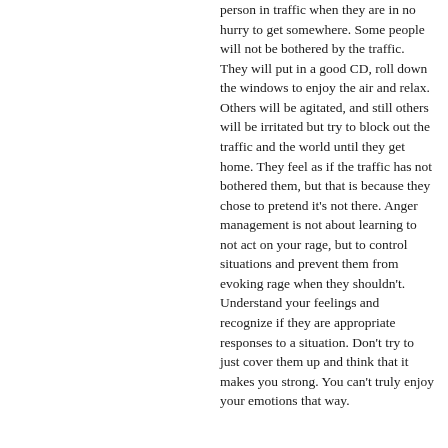person in traffic when they are in no hurry to get somewhere. Some people will not be bothered by the traffic. They will put in a good CD, roll down the windows to enjoy the air and relax. Others will be agitated, and still others will be irritated but try to block out the traffic and the world until they get home. They feel as if the traffic has not bothered them, but that is because they chose to pretend it's not there. Anger management is not about learning to not act on your rage, but to control situations and prevent them from evoking rage when they shouldn't. Understand your feelings and recognize if they are appropriate responses to a situation. Don't try to just cover them up and think that it makes you strong. You can't truly enjoy your emotions that way.